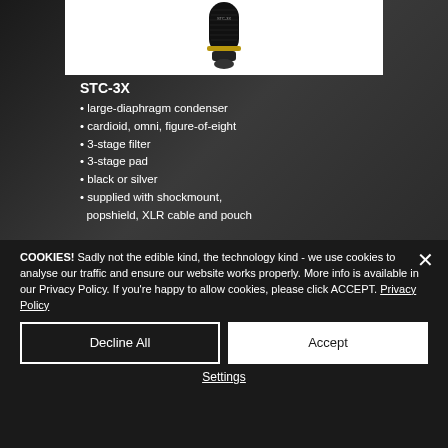[Figure (photo): Close-up photo of STC-3X large-diaphragm condenser microphone body against a dark background, showing the top capsule portion and gold ring detail.]
STC-3X
large-diaphragm condenser
cardioid, omni, figure-of-eight
3-stage filter
3-stage pad
black or silver
supplied with shockmount, popshield, XLR cable and pouch
COOKIES! Sadly not the edible kind, the technology kind - we use cookies to analyse our traffic and ensure our website works properly. More info is available in our Privacy Policy. If you're happy to allow cookies, please click ACCEPT. Privacy Policy
Decline All
Accept
Settings